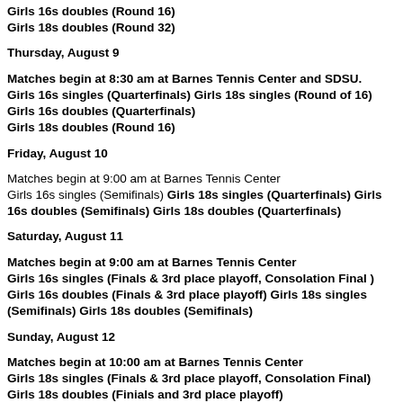Girls 16s doubles (Round 16)
Girls 18s doubles (Round 32)
Thursday, August 9
Matches begin at 8:30 am at Barnes Tennis Center and SDSU.
Girls 16s singles (Quarterfinals) Girls 18s singles (Round of 16)
Girls 16s doubles (Quarterfinals)
Girls 18s doubles (Round 16)
Friday, August 10
Matches begin at 9:00 am at Barnes Tennis Center
Girls 16s singles (Semifinals) Girls 18s singles (Quarterfinals) Girls 16s doubles (Semifinals) Girls 18s doubles (Quarterfinals)
Saturday, August 11
Matches begin at 9:00 am at Barnes Tennis Center
Girls 16s singles (Finals & 3rd place playoff, Consolation Final )
Girls 16s doubles (Finals & 3rd place playoff) Girls 18s singles (Semifinals) Girls 18s doubles (Semifinals)
Sunday, August 12
Matches begin at 10:00 am at Barnes Tennis Center
Girls 18s singles (Finals & 3rd place playoff, Consolation Final)
Girls 18s doubles (Finials and 3rd place playoff)